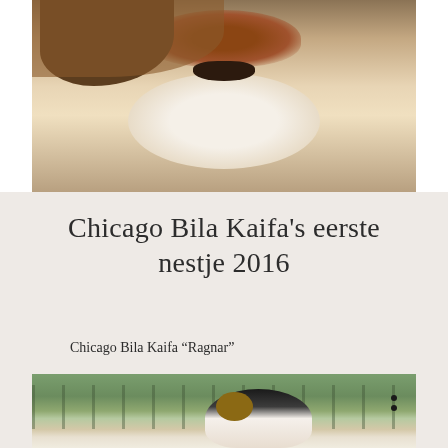[Figure (photo): Close-up photo of a Jack Russell Terrier puppy face, showing brown and white fur with a black nose, looking slightly to the side.]
Chicago Bila Kaifa's eerste nestje 2016
Chicago Bila Kaifa “Ragnar”
[Figure (photo): Photo of a Jack Russell Terrier dog (Chicago Bila Kaifa Ragnar) outdoors near a wooden fence, showing the dog's head with black, white and brown markings.]